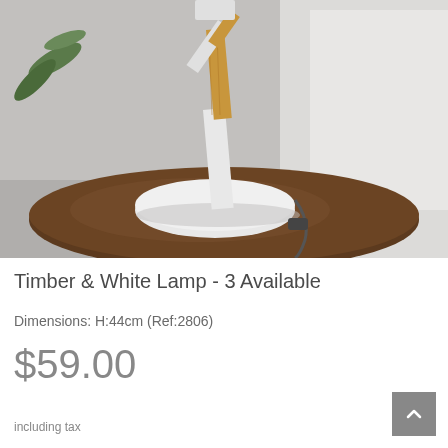[Figure (photo): Close-up photo of a timber and white lamp base sitting on a dark wooden round table. The lamp has a white circular base with a bamboo/timber and white pole. A cable is visible on the side. Background shows a white sofa and a plant leaf.]
Timber & White Lamp - 3 Available
Dimensions: H:44cm (Ref:2806)
$59.00
including tax